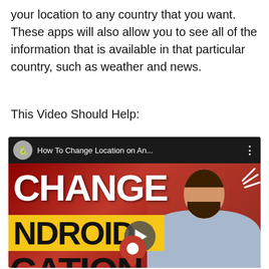your location to any country that you want. These apps will also allow you to see all of the information that is available in that particular country, such as weather and news.
This Video Should Help:
[Figure (screenshot): YouTube video thumbnail showing 'How To Change Location on An...' with large white text 'CHANGE' and yellow bar with 'ANDROID' text, a play button in the center, a man smiling in a light blue shirt on the right side, and a location pin icon. The video title bar shows a channel avatar and three-dot menu.]